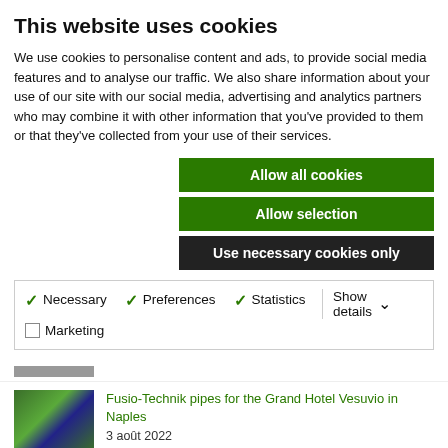This website uses cookies
We use cookies to personalise content and ads, to provide social media features and to analyse our traffic. We also share information about your use of our site with our social media, advertising and analytics partners who may combine it with other information that you've provided to them or that they've collected from your use of their services.
Allow all cookies
Allow selection
Use necessary cookies only
| ✓ Necessary | ✓ Preferences | ✓ Statistics | Show details ∨ |
| ☐ Marketing |  |  |  |
[Figure (photo): Thumbnail image of pipes/machinery, partially visible, dated 24 août 2022]
24 août 2022
[Figure (photo): Green pipes/industrial equipment thumbnail]
Fusio-Technik pipes for the Grand Hotel Vesuvio in Naples
3 août 2022
[Figure (photo): Industrial piping/data center equipment thumbnail]
The reliability of Aquatechnik fiber-reinforced pipes for an important Data Center
27 juillet 2022